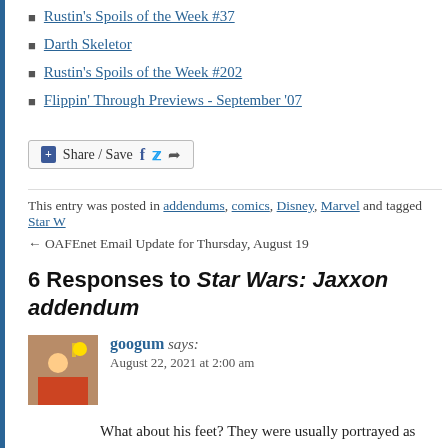Rustin's Spoils of the Week #37
Darth Skeletor
Rustin's Spoils of the Week #202
Flippin' Through Previews - September '07
Share / Save
This entry was posted in addendums, comics, Disney, Marvel and tagged Star W
← OAFEnet Email Update for Thursday, August 19
6 Responses to Star Wars: Jaxxon addendum
googum says: August 22, 2021 at 2:00 am
What about his feet? They were usually portrayed as bigg was consistent in even his earliest appearances.
Reply